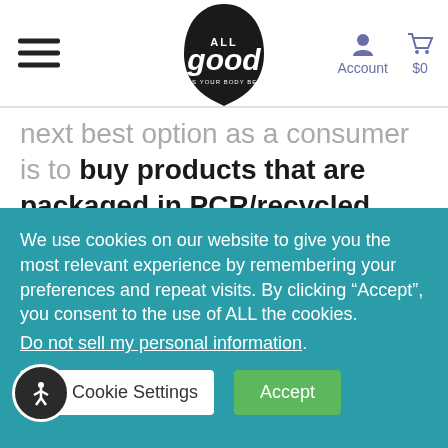All Good Products navigation bar with hamburger menu, logo, Account and $0 cart
next best option as a consumer is to buy products that are packaged in PCR/recycled materials, like those produced here at All Good Products (although many of our products are plastic-free as well). Buying products that use PCR/recycled packaging is a nice middle ground that can allow you to
We use cookies on our website to give you the most relevant experience by remembering your preferences and repeat visits. By clicking “Accept”, you consent to the use of ALL the cookies. Do not sell my personal information.
Cookie Settings  Accept